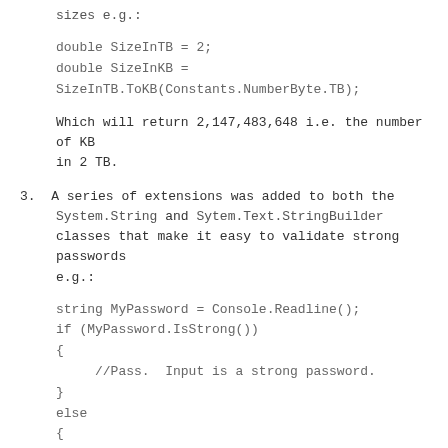sizes e.g.:
double SizeInTB = 2;
double SizeInKB =
SizeInTB.ToKB(Constants.NumberByte.TB);
Which will return 2,147,483,648 i.e. the number of KB in 2 TB.
3. A series of extensions was added to both the System.String and Sytem.Text.StringBuilder classes that make it easy to validate strong passwords e.g.:
string MyPassword = Console.Readline();
if (MyPassword.IsStrong())
{
    //Pass.  Input is a strong password.
}
else
{
    //Fail.  Input is NOT a strong